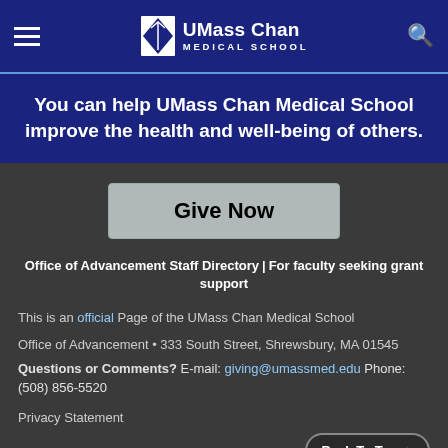UMass Chan Medical School
You can help UMass Chan Medical School improve the health and well-being of others.
Give Now
Office of Advancement Staff Directory | For faculty seeking grant support
This is an official Page of the UMass Chan Medical School
Office of Advancement • 333 South Street, Shrewsbury, MA 01545
Questions or Comments? E-mail: giving@umassmed.edu Phone: (508) 856-5520
Privacy Statement
Back To Top ▲